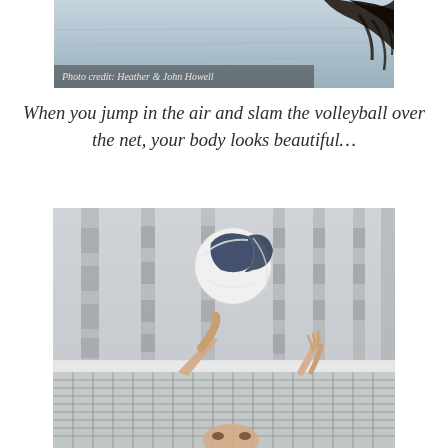[Figure (photo): Action photo of a volleyball player jumping in the air, hair flying, with photo credit overlay reading 'Photo credit: Heather & John Howell']
When you jump in the air and slam the volleyball over the net, your body looks beautiful…
[Figure (photo): Photo of a volleyball above a net with a player's hands reaching up at the net, another player visible below]